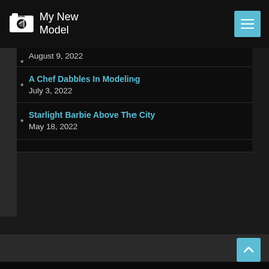My New Model
August 9, 2022
A Chef Dabbles In Modeling
July 3, 2022
Starlight Barbie Above The City
May 18, 2022